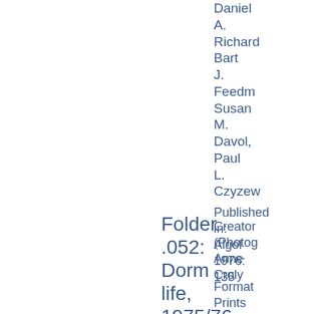Daniel A. Richard Bart J. Feedma Susan M. Davol, Paul L. Czyzew
Published in: Algol 1976: 135
Folder .052: Dorm life, 1975/76
Creator (Photog Anne Croly
Format Prints